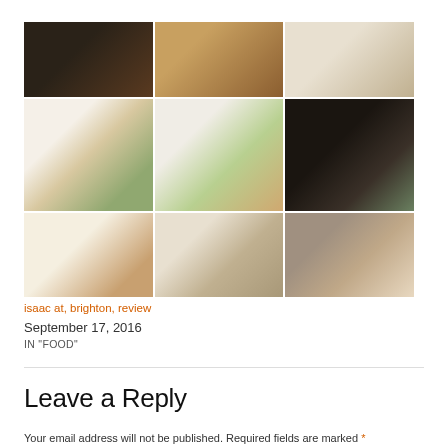[Figure (photo): 3x3 grid of food photography images showing various plated dishes on white, black, and wooden surfaces]
isaac at, brighton, review
September 17, 2016
IN "FOOD"
Leave a Reply
Your email address will not be published. Required fields are marked *